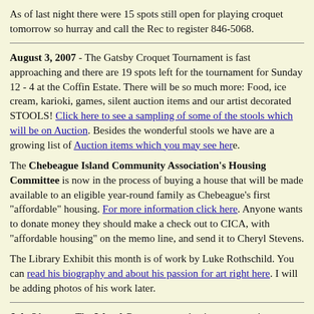As of last night there were 15 spots still open for playing croquet tomorrow so hurray and call the Rec to register 846-5068.
August 3, 2007 - The Gatsby Croquet Tournament is fast approaching and there are 19 spots left for the tournament for Sunday 12 - 4 at the Coffin Estate. There will be so much more: Food, ice cream, karioki, games, silent auction items and our artist decorated STOOLS! Click here to see a sampling of some of the stools which will be on Auction. Besides the wonderful stools we have are a growing list of Auction items which you may see here.
The Chebeague Island Community Association's Housing Committee is now in the process of buying a house that will be made available to an eligible year-round family as Chebeague's first "affordable" housing. For more information click here. Anyone wants to donate money they should make a check out to CICA, with "affordable housing" on the memo line, and send it to Cheryl Stevens.
The Library Exhibit this month is of work by Luke Rothschild. You can read his biography and about his passion for art right here. I will be adding photos of his work later.
July 31, cont - The Island Commons are having some major